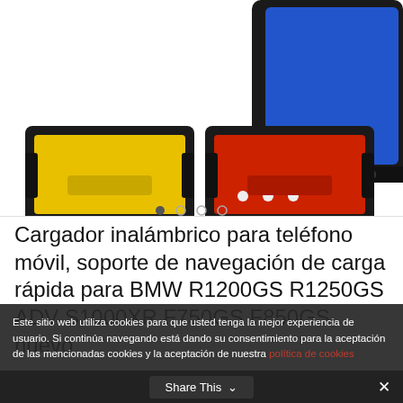[Figure (photo): Product image of wireless charger with colorful mounts (yellow and red shown), and spec text: Product Standard:WPC-QiV1.2, Input:11V-15V, Output:9V-1.1A 5V-1A, Transmission Distance:5-8mm]
Cargador inalámbrico para teléfono móvil, soporte de navegación de carga rápida para BMW R1200GS R1250GS ADV S1000XR F750GS F850GS, nuevo
528 pedidos
Color: YELLOW
Este sitio web utiliza cookies para que usted tenga la mejor experiencia de usuario. Si continúa navegando está dando su consentimiento para la aceptación de las mencionadas cookies y la aceptación de nuestra política de cookies